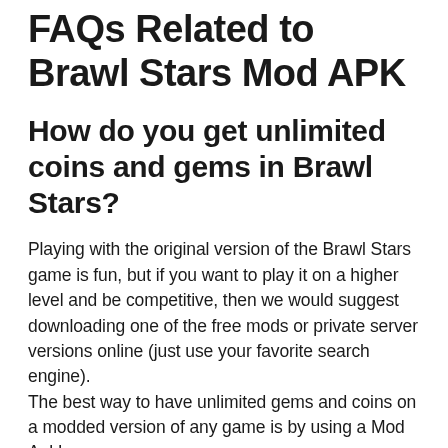FAQs Related to Brawl Stars Mod APK
How do you get unlimited coins and gems in Brawl Stars?
Playing with the original version of the Brawl Stars game is fun, but if you want to play it on a higher level and be competitive, then we would suggest downloading one of the free mods or private server versions online (just use your favorite search engine). The best way to have unlimited gems and coins on a modded version of any game is by using a Mod Apk! The best way to get unlimited gems and